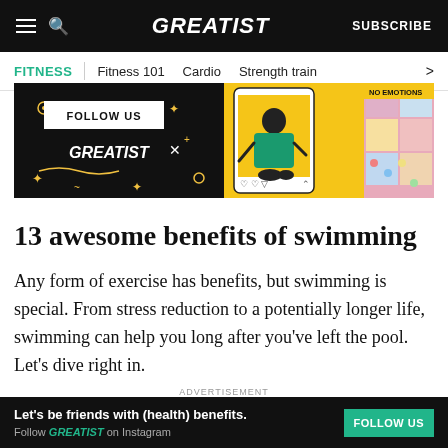GREATIST | SUBSCRIBE
FITNESS | Fitness 101  Cardio  Strength train >
[Figure (illustration): Greatist social media follow-us promotional banner showing FOLLOW US button on black background with Greatist logo, and Instagram feed preview with illustrated person on yellow background]
13 awesome benefits of swimming
Any form of exercise has benefits, but swimming is special. From stress reduction to a potentially longer life, swimming can help you long after you've left the pool. Let's dive right in.
[Figure (advertisement): Bottom advertisement banner: Let's be friends with (health) benefits. Follow GREATIST on Instagram. FOLLOW US button in teal on dark background with decorative illustrations.]